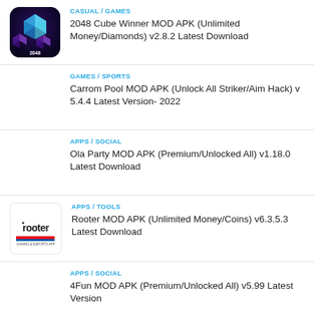CASUAL / GAMES
2048 Cube Winner MOD APK (Unlimited Money/Diamonds) v2.8.2 Latest Download
GAMES / SPORTS
Carrom Pool MOD APK (Unlock All Striker/Aim Hack) v 5.4.4 Latest Version- 2022
APPS / SOCIAL
Ola Party MOD APK (Premium/Unlocked All) v1.18.0 Latest Download
APPS / TOOLS
Rooter MOD APK (Unlimited Money/Coins) v6.3.5.3 Latest Download
APPS / SOCIAL
4Fun MOD APK (Premium/Unlocked All) v5.99 Latest Version